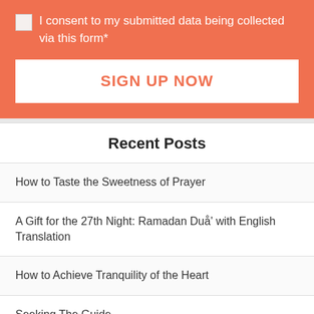I consent to my submitted data being collected via this form*
SIGN UP NOW
Recent Posts
How to Taste the Sweetness of Prayer
A Gift for the 27th Night: Ramadan Duå' with English Translation
How to Achieve Tranquility of the Heart
Seeking The Guide
We Were Commanded to Love